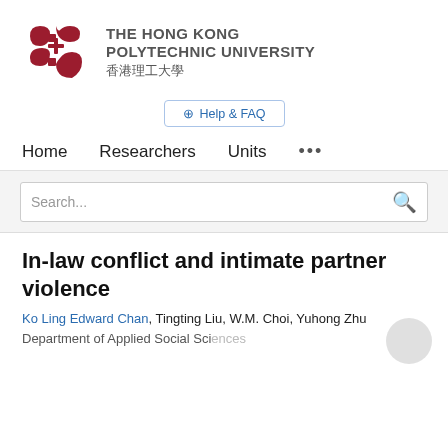[Figure (logo): The Hong Kong Polytechnic University logo — red knot emblem with English name 'THE HONG KONG POLYTECHNIC UNIVERSITY' and Chinese name '香港理工大學']
⊕ Help & FAQ
Home   Researchers   Units   •••
Search...
In-law conflict and intimate partner violence
Ko Ling Edward Chan, Tingting Liu, W.M. Choi, Yuhong Zhu
Department of Applied Social Sciences